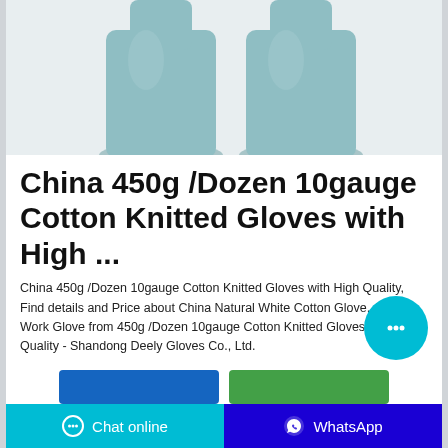[Figure (photo): Two light teal/blue cotton knitted gloves shown side by side against a white background, only the upper portions visible (wrist and lower arm area cropped).]
China 450g /Dozen 10gauge Cotton Knitted Gloves with High ...
China 450g /Dozen 10gauge Cotton Knitted Gloves with High Quality, Find details and Price about China Natural White Cotton Glove, Cheap Work Glove from 450g /Dozen 10gauge Cotton Knitted Gloves with High Quality - Shandong Deely Gloves Co., Ltd.
Chat online  WhatsApp